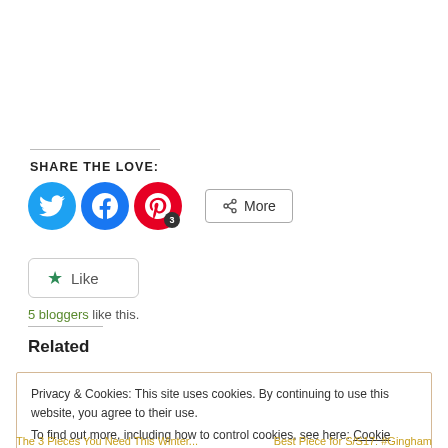SHARE THE LOVE:
[Figure (infographic): Social share buttons: Twitter (blue circle), Facebook (blue circle), Pinterest (red circle with badge '3'), and a 'More' button with share icon]
[Figure (infographic): Like button with green star icon and text '5 bloggers like this.']
Related
Privacy & Cookies: This site uses cookies. By continuing to use this website, you agree to their use. To find out more, including how to control cookies, see here: Cookie Policy
Close and accept
The 3 Pieces You Need This Winter...    Best Piece for S/S17: #Gingham